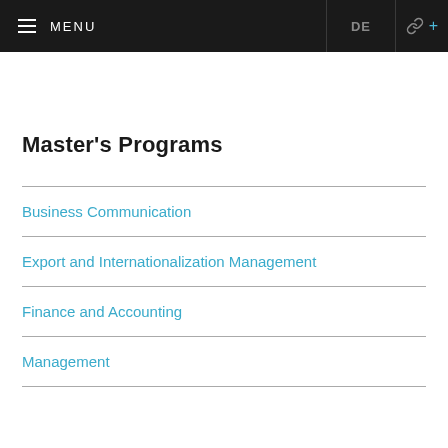≡  MENU    DE   🔗 +
Master's Programs
Business Communication
Export and Internationalization Management
Finance and Accounting
Management